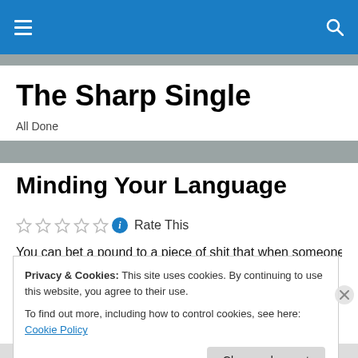≡  🔍
The Sharp Single
All Done
Minding Your Language
☆☆☆☆☆ ℹ Rate This
You can bet a pound to a piece of shit that when someone
Privacy & Cookies: This site uses cookies. By continuing to use this website, you agree to their use.
To find out more, including how to control cookies, see here: Cookie Policy
Close and accept